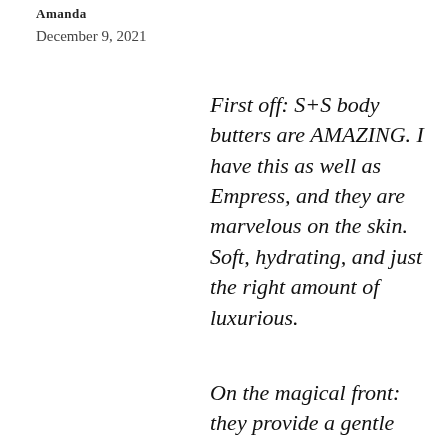Amanda
December 9, 2021
First off: S+S body butters are AMAZING. I have this as well as Empress, and they are marvelous on the skin. Soft, hydrating, and just the right amount of luxurious.
On the magical front: they provide a gentle